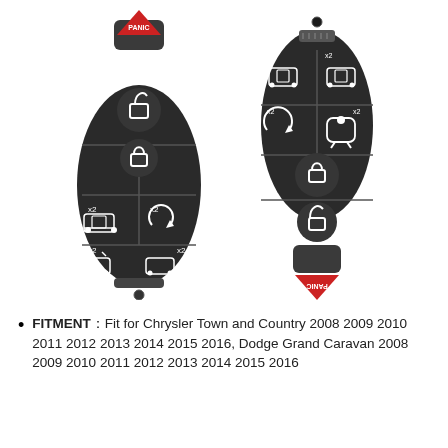[Figure (illustration): Two car key fobs shown front and back. Left fob: black, teardrop shape with red PANIC button on top, unlock/lock buttons, sliding door and remote start buttons. Right fob: black, teardrop shape upside-down with red PANIC at bottom, sliding door and other function buttons.]
FITMENT：Fit for Chrysler Town and Country 2008 2009 2010 2011 2012 2013 2014 2015 2016, Dodge Grand Caravan 2008 2009 2010 2011 2012 2013 2014 2015 2016